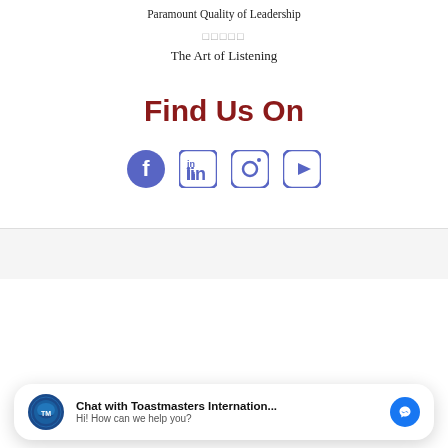Self-Acceptance in a World Pining for Attention, Is True Power:
Paramount Quality of Leadership
★★★★★
The Art of Listening
Find Us On
[Figure (illustration): Social media icons: Facebook, LinkedIn, Instagram, YouTube in purple/indigo color]
[Figure (infographic): Chat widget with Toastmasters International logo, text 'Chat with Toastmasters Internation... Hi! How can we help you?' and blue Messenger icon]